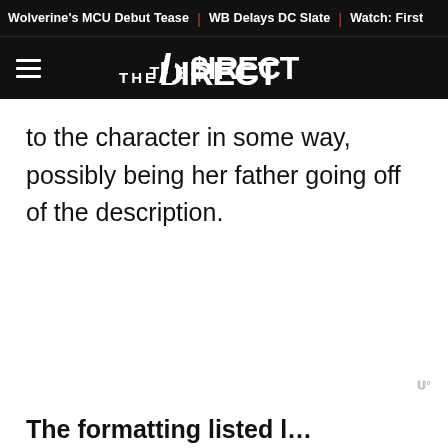Wolverine's MCU Debut Tease | WB Delays DC Slate | Watch: First
THE DIRECT
to the character in some way, possibly being her father going off of the description.
The formatting listed l...